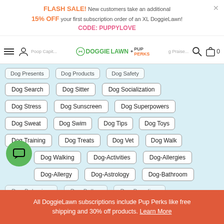FLASH SALE! New customers take an additional 15% OFF your first subscription order of an XL DoggieLawn! CODE: PUPPYLOVE
[Figure (logo): DoggieLawn + Pup Perks logo with navigation icons (hamburger menu, user, search, bag)]
Dog Presents
Dog Products
Dog Safety
Dog Search
Dog Sitter
Dog Socialization
Dog Stress
Dog Sunscreen
Dog Superpowers
Dog Sweat
Dog Swim
Dog Tips
Dog Toys
Dog Training
Dog Treats
Dog Vet
Dog Walk
Dog Walking
Dog-Activities
Dog-Allergies
Dog-Allergy
Dog-Astrology
Dog-Bathroom
All DoggieLawn subscriptions include Pup Perks like free shipping and 30% off products. Learn More